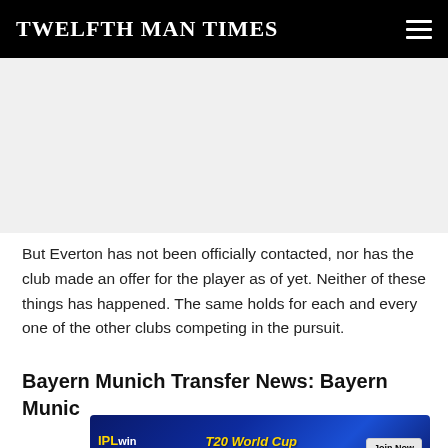TWELFTH MAN TIMES
[Figure (other): Advertisement placeholder area (blank/grey)]
But Everton has not been officially contacted, nor has the club made an offer for the player as of yet. Neither of these things has happened. The same holds for each and every one of the other clubs competing in the pursuit.
Bayern Munich Transfer News: Bayern Munic
[Figure (other): IPLwin T20 World Cup Official Betting Site advertisement banner with Join Now button]